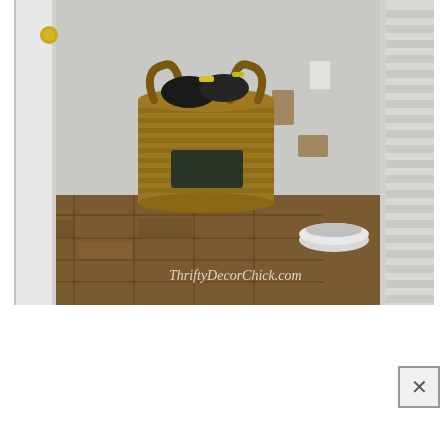[Figure (photo): Interior room photo showing a wicker/seagrass storage basket containing shoes, placed against a white wall with two holes/gaps visible. A white pet bowl sits on the floor nearby. The floor has brown/tan stone-look tile. A white door is on the left side and white louvered shutters are on the right. A watermark reads 'ThriftyDecorChick.com' in the lower right of the photo.]